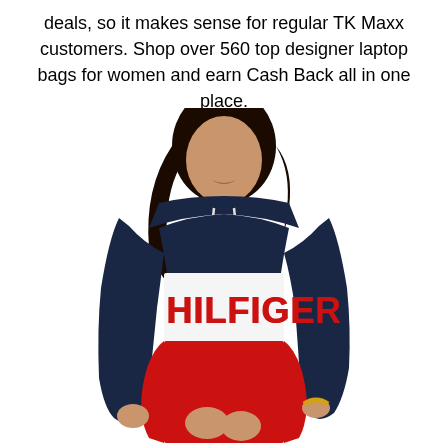deals, so it makes sense for regular TK Maxx customers. Shop over 560 top designer laptop bags for women and earn Cash Back all in one place.
[Figure (photo): Woman wearing a Tommy Hilfiger colorblock hoodie dress in navy blue, white, and red. The white panel across the chest reads HILFIGER in large red letters. The model has long dark hair and is shown from the neck down.]